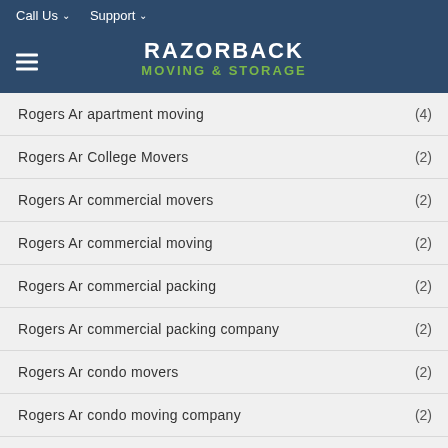Call Us  Support  RAZORBACK MOVING & STORAGE
Rogers Ar apartment moving (4)
Rogers Ar College Movers (2)
Rogers Ar commercial movers (2)
Rogers Ar commercial moving (2)
Rogers Ar commercial packing (2)
Rogers Ar commercial packing company (2)
Rogers Ar condo movers (2)
Rogers Ar condo moving company (2)
Rogers Ar crating company (1)
Rogers Ar home movers (2)